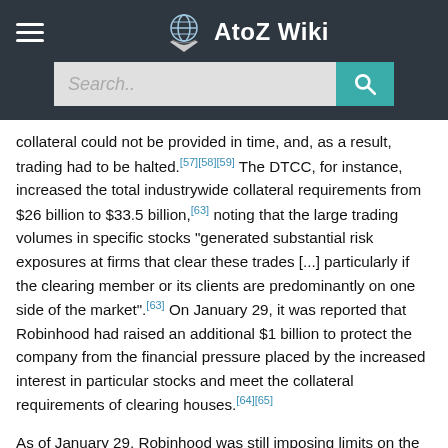AtoZ Wiki
collateral could not be provided in time, and, as a result, trading had to be halted.[57][58][59] The DTCC, for instance, increased the total industrywide collateral requirements from $26 billion to $33.5 billion,[63] noting that the large trading volumes in specific stocks "generated substantial risk exposures at firms that clear these trades [...] particularly if the clearing member or its clients are predominantly on one side of the market".[63] On January 29, it was reported that Robinhood had raised an additional $1 billion to protect the company from the financial pressure placed by the increased interest in particular stocks and meet the collateral requirements of clearing houses.[64][65]
As of January 29, Robinhood was still imposing limits on the trading of GameStop, AMC, and Blackberry stocks.[63] On January 30, Robinhood announced it had increased the restrictions from the sale of 13 securities to 50, including